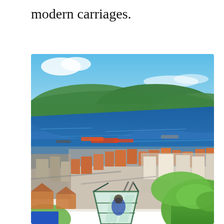modern carriages.
[Figure (photo): Aerial view of Bergen, Norway, with a funicular/cable car carriage in the foreground at the bottom of the image. The city shows colorful buildings with orange/red rooftops, a large blue fjord/harbor with boats and ships, green forested hills in the background, and a clear blue sky. The modern glass-sided funicular car is visible at the lower center of the photo.]